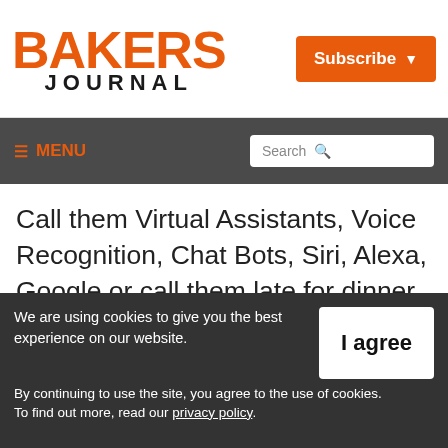BAKERS JOURNAL
Subscribe
MENU  Search
Call them Virtual Assistants, Voice Recognition, Chat Bots, Siri, Alexa, Google or call them late for dinner (as the old joke goes). Conversational commerce in today’s marketing theory is defined as communicating in an
We are using cookies to give you the best experience on our website.
By continuing to use the site, you agree to the use of cookies.
To find out more, read our privacy policy.